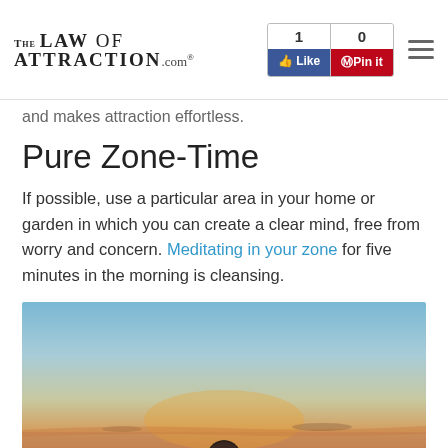The Law of Attraction .com | 1 Like | 0 Pin it
and makes attraction effortless.
Pure Zone-Time
If possible, use a particular area in your home or garden in which you can create a clear mind, free from worry and concern. Meditating in your zone for five minutes in the morning is cleansing.
[Figure (photo): Person seen from behind at sunset/dusk over water, with orange and blue sky]